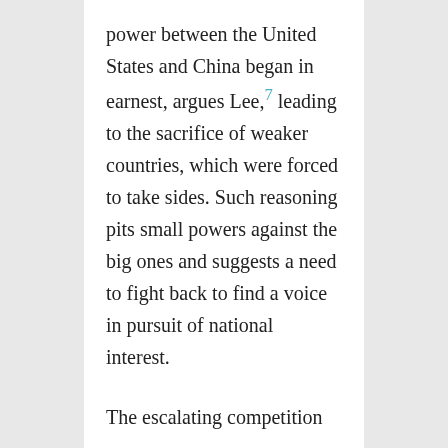power between the United States and China began in earnest, argues Lee,7 leading to the sacrifice of weaker countries, which were forced to take sides. Such reasoning pits small powers against the big ones and suggests a need to fight back to find a voice in pursuit of national interest.
The escalating competition